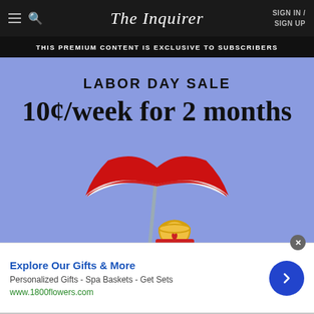The Inquirer | SIGN IN / SIGN UP
THIS PREMIUM CONTENT IS EXCLUSIVE TO SUBSCRIBERS
[Figure (illustration): Labor Day Sale promotional banner with beach umbrella illustration on blue background. Text reads: LABOR DAY SALE, 10¢/week for 2 months. Beach umbrella is red and white with a yellow bucket below it.]
Explore Our Gifts & More
Personalized Gifts - Spa Baskets - Get Sets
www.1800flowers.com